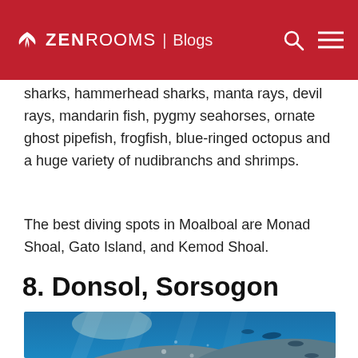ZEN ROOMS | Blogs
sharks, hammerhead sharks, manta rays, devil rays, mandarin fish, pygmy seahorses, ornate ghost pipefish, frogfish, blue-ringed octopus and a huge variety of nudibranchs and shrimps.
The best diving spots in Moalboal are Monad Shoal, Gato Island, and Kemod Shoal.
8. Donsol, Sorsogon
[Figure (photo): Underwater photo of whale sharks swimming in blue ocean water with light filtering through.]